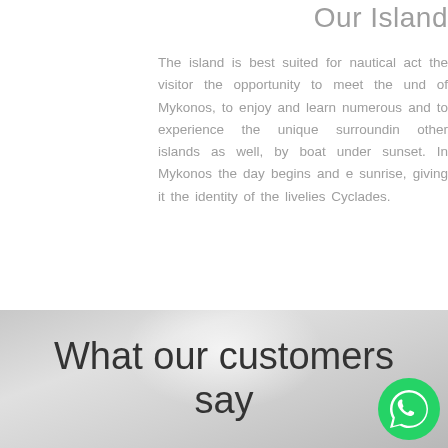Our Island
The island is best suited for nautical activities, giving the visitor the opportunity to meet the underwater beauties of Mykonos, to enjoy and learn numerous water sports and to experience the unique surroundings of Mykonos and other islands as well, by boat under the magnificent sunset. In Mykonos the day begins and ends after sunrise, giving it the identity of the liveliest island in the Cyclades.
What our customers say